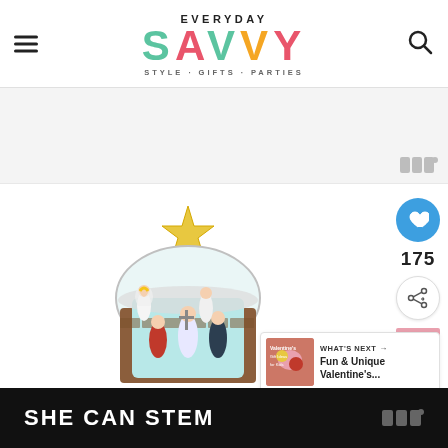EVERYDAY SAVVY — STYLE · GIFTS · PARTIES
[Figure (other): Gray advertisement banner area with Mediavine badge in bottom right]
[Figure (photo): Nativity scene Christmas ornament with star on top, figurines inside a stable structure with glitter details]
[Figure (other): Social sharing sidebar with heart/save button (blue circle), save count 175, and share button]
175
[Figure (other): What's Next promotional box with thumbnail and text: 'Fun & Unique Valentine's...']
WHAT'S NEXT → Fun & Unique Valentine's...
[Figure (other): Bottom black advertisement banner with text 'SHE CAN STEM' and Mediavine badge]